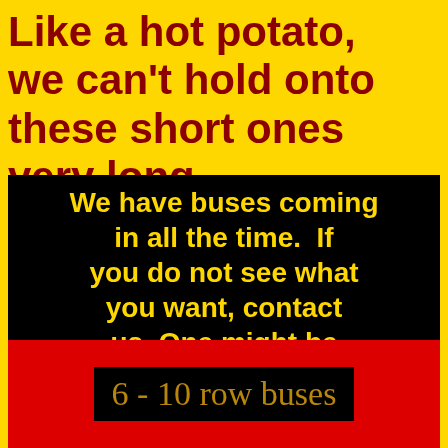Like a hot potato, we can't hold onto these short ones very long.
We have buses coming in all the time.  If you do not see what you want, contact us. One might be coming in soon.
6 - 10 row buses